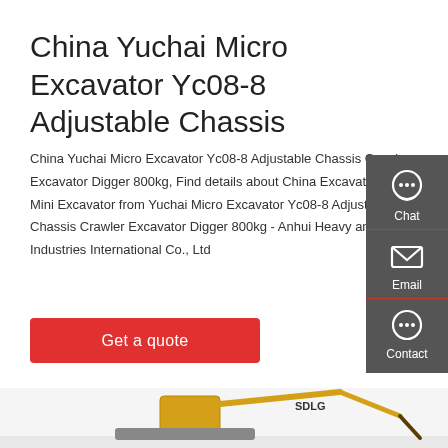China Yuchai Micro Excavator Yc08-8 Adjustable Chassis
China Yuchai Micro Excavator Yc08-8 Adjustable Chassis Crawler Excavator Digger 800kg, Find details about China Excavators, Mini Excavator from Yuchai Micro Excavator Yc08-8 Adjustable Chassis Crawler Excavator Digger 800kg - Anhui Heavy and Light Industries International Co., Ltd
Get a quote
[Figure (photo): Yellow SDLG crawler excavator / mini digger photographed from the side, partially visible at the bottom of the page]